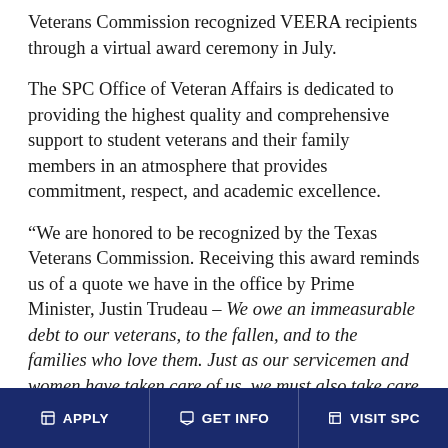Veterans Commission recognized VEERA recipients through a virtual award ceremony in July.
The SPC Office of Veteran Affairs is dedicated to providing the highest quality and comprehensive support to student veterans and their family members in an atmosphere that provides commitment, respect, and academic excellence.
“We are honored to be recognized by the Texas Veterans Commission. Receiving this award reminds us of a quote we have in the office by Prime Minister, Justin Trudeau – We owe an immeasurable debt to our veterans, to the fallen, and to the families who love them. Just as our servicemen and women have taken care of us, we must also take care of them. It is our sacred duty as a country to be there for our heroes when they need us most. This quote is one that we try and achieve each
APPLY | GET INFO | VISIT SPC